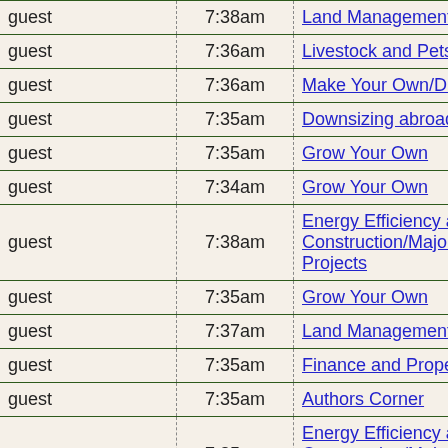| user | time | category |
| --- | --- | --- |
| guest | 7:38am | Land Management |
| guest | 7:36am | Livestock and Pets |
| guest | 7:36am | Make Your Own/DIY |
| guest | 7:35am | Downsizing abroad |
| guest | 7:35am | Grow Your Own |
| guest | 7:34am | Grow Your Own |
| guest | 7:38am | Energy Efficiency and Construction/Major Projects |
| guest | 7:35am | Grow Your Own |
| guest | 7:37am | Land Management |
| guest | 7:35am | Finance and Property |
| guest | 7:35am | Authors Corner |
| guest | 7:35am | Energy Efficiency and Construction/Major Projects |
| guest | 7:36am | Grow Your Own |